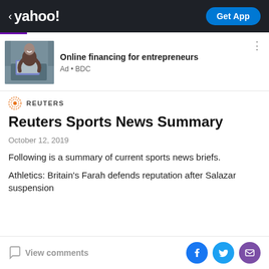< yahoo!    Get App
[Figure (other): Advertisement banner: photo of a man working on a laptop with text 'Online financing for entrepreneurs' and 'Ad • BDC']
REUTERS
Reuters Sports News Summary
October 12, 2019
Following is a summary of current sports news briefs.
Athletics: Britain's Farah defends reputation after Salazar suspension
View comments